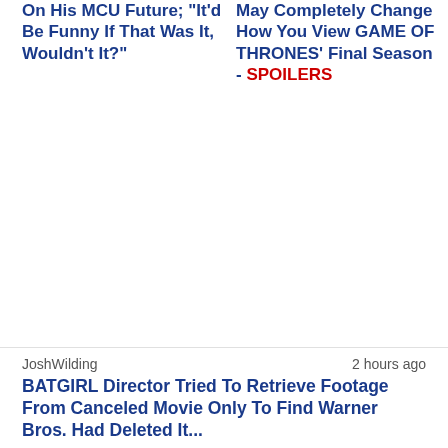On His MCU Future; "It'd Be Funny If That Was It, Wouldn't It?"
May Completely Change How You View GAME OF THRONES' Final Season - SPOILERS
JoshWilding
2 hours ago
BATGIRL Director Tried To Retrieve Footage From Canceled Movie Only To Find Warner Bros. Had Deleted It...